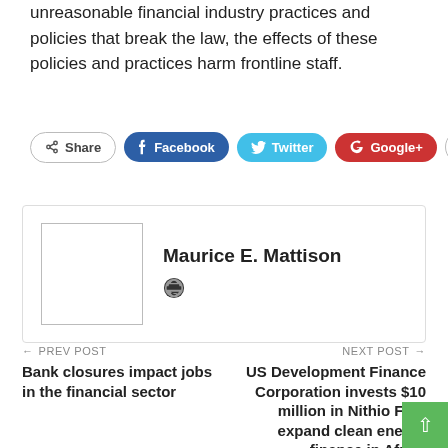unreasonable financial industry practices and policies that break the law, the effects of these policies and practices harm frontline staff.
[Figure (infographic): Social share buttons: Share, Facebook, Twitter, Google+, and a plus button]
[Figure (infographic): Author box with avatar placeholder and name Maurice E. Mattison with a globe/website icon]
← PREV POST
Bank closures impact jobs in the financial sector
NEXT POST →
US Development Finance Corporation invests $10 million in Nithio FI to expand clean energy finance in Africa